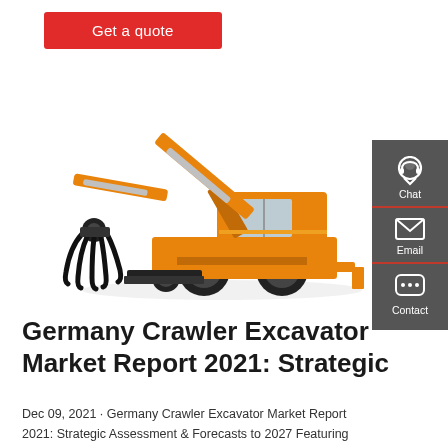[Figure (other): Red 'Get a quote' button]
[Figure (photo): Yellow wheeled excavator with grapple attachment on white background]
[Figure (other): Dark grey side panel with Chat, Email, and Contact icons]
Germany Crawler Excavator Market Report 2021: Strategic
Dec 09, 2021 · Germany Crawler Excavator Market Report 2021: Strategic Assessment & Forecasts to 2027 Featuring